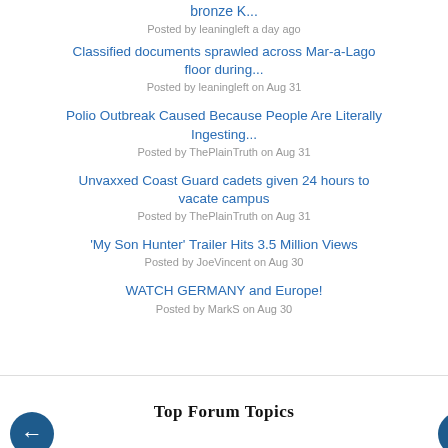bronze K...
Posted by leaningleft a day ago
Classified documents sprawled across Mar-a-Lago floor during...
Posted by leaningleft on Aug 31
Polio Outbreak Caused Because People Are Literally Ingesting...
Posted by ThePlainTruth on Aug 31
Unvaxxed Coast Guard cadets given 24 hours to vacate campus
Posted by ThePlainTruth on Aug 31
'My Son Hunter' Trailer Hits 3.5 Million Views
Posted by JoeVincent on Aug 30
WATCH GERMANY and Europe!
Posted by MarkS on Aug 30
Top Forum Topics